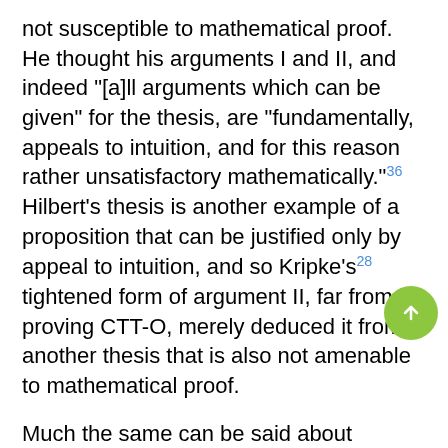not susceptible to mathematical proof. He thought his arguments I and II, and indeed "[a]ll arguments which can be given" for the thesis, are "fundamentally, appeals to intuition, and for this reason rather unsatisfactory mathematically."36 Hilbert's thesis is another example of a proposition that can be justified only by appeal to intuition, and so Kripke's28 tightened form of argument II, far from proving CTT-O, merely deduced it from another thesis that is also not amenable to mathematical proof.
Much the same can be said about argument I. If axioms 15 are formulated in precise mathematical terms, then it is certainly provable from them that computation is bounded by Turing computability; this is probably what Gandy20 meant when he said Turing's argument I proves a "theorem." But the real issue is whether these axioms completely capture the concept of a computational or algorithmic process, and, so far as we see, no one has ever given a rigorous mathematical justification of that claim. The axioms may be supported by informal